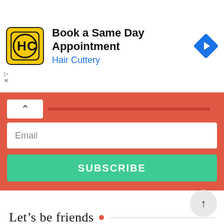[Figure (screenshot): Hair Cuttery ad banner: yellow logo with HC letters, text 'Book a Same Day Appointment' and 'Hair Cuttery' in blue, blue diamond navigation icon on right]
[Figure (screenshot): Email subscription widget with red background, email input field, and green SUBSCRIBE button]
Let's be friends
[Figure (infographic): Five social media icon circles (pink background): Facebook, Pinterest, YouTube, Twitter, Tumblr]